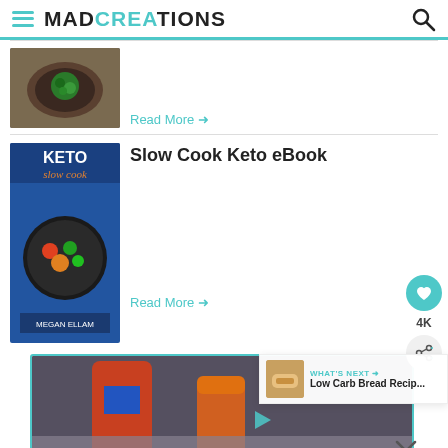MAD CREATIONS
[Figure (photo): Thumbnail photo of a dish with green herb toppings in a dark bowl]
Read More →
[Figure (photo): Keto Slow Cook eBook cover by Megan Ellam with colorful food on dark pan]
Slow Cook Keto eBook
Read More →
[Figure (photo): Photo of hot sauce bottles on a dark surface]
WHAT'S NEXT → Low Carb Bread Recip...